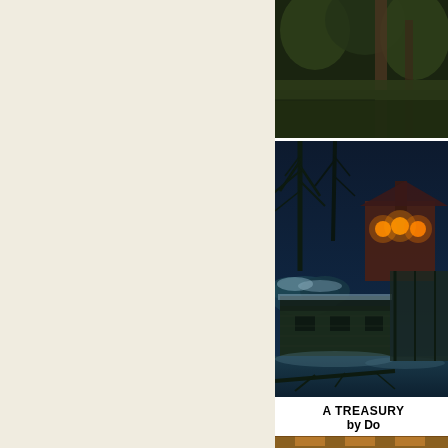[Figure (illustration): Left half of page showing a repeating wallpaper/endpaper pattern on cream/beige background. The pattern consists of repeated circular globe or medallion icons arranged in a grid, rendered in light blue-gray color. Approximately 5 rows and 2 columns of these circular stamp-like symbols.]
[Figure (illustration): Top right: Dark atmospheric illustration showing trees, foliage, and what appears to be a wooden structure or fence in dark greens and browns.]
[Figure (illustration): Middle right: A large atmospheric night scene illustration showing a snow-covered rural landscape with a cottage or farmhouse, bare trees silhouetted against a dark blue night sky, glowing orange lanterns or windows, and a log cabin or shed in the foreground with snow and fallen branches. Deep teal/blue color palette.]
A TREASURY by Do
[Figure (illustration): Bottom right (partially visible): Another illustration showing what appears to be an interior scene with warm amber/orange tones, ornate framing, partially cut off at page edge.]